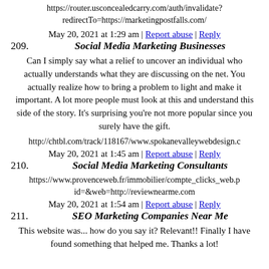https://router.usconcealedcarry.com/auth/invalidate?redirectTo=https://marketingpostfalls.com/
May 20, 2021 at 1:29 am | Report abuse | Reply
209. Social Media Marketing Businesses
Can I simply say what a relief to uncover an individual who actually understands what they are discussing on the net. You actually realize how to bring a problem to light and make it important. A lot more people must look at this and understand this side of the story. It's surprising you're not more popular since you surely have the gift.
http://chtbl.com/track/118167/www.spokanevalleywebdesign.c
May 20, 2021 at 1:45 am | Report abuse | Reply
210. Social Media Marketing Consultants
https://www.provenceweb.fr/immobilier/compte_clicks_web.p id=&web=http://reviewnearme.com
May 20, 2021 at 1:54 am | Report abuse | Reply
211. SEO Marketing Companies Near Me
This website was... how do you say it? Relevant!! Finally I have found something that helped me. Thanks a lot!